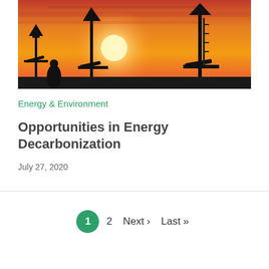[Figure (photo): Oil pump jacks silhouetted against a vivid orange and red sunset sky]
Energy & Environment
Opportunities in Energy Decarbonization
July 27, 2020
1  2  Next › Last »